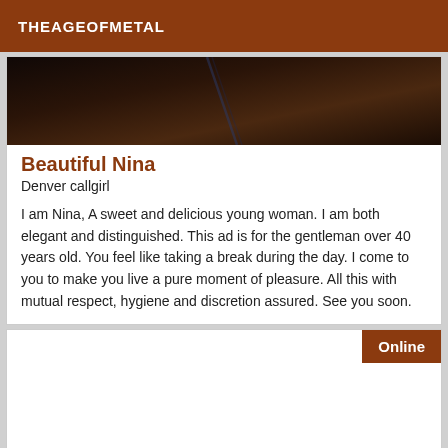THEAGEOFMETAL
[Figure (photo): Dark photograph, mostly dark brown and black tones, partial view of a person or object in dim lighting]
Beautiful Nina
Denver callgirl
I am Nina, A sweet and delicious young woman. I am both elegant and distinguished. This ad is for the gentleman over 40 years old. You feel like taking a break during the day. I come to you to make you live a pure moment of pleasure. All this with mutual respect, hygiene and discretion assured. See you soon.
Online